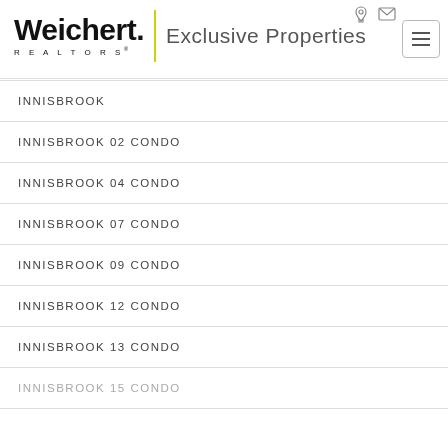Weichert REALTORS Exclusive Properties
INNISBROOK
INNISBROOK 02 CONDO
INNISBROOK 04 CONDO
INNISBROOK 07 CONDO
INNISBROOK 09 CONDO
INNISBROOK 12 CONDO
INNISBROOK 13 CONDO
INNISBROOK 15 CONDO